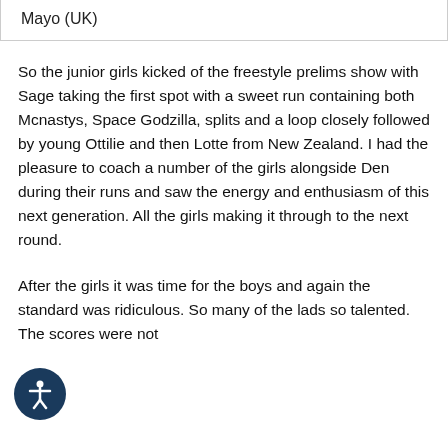Mayo (UK)
So the junior girls kicked of the freestyle prelims show with Sage taking the first spot with a sweet run containing both Mcnastys, Space Godzilla, splits and a loop closely followed by young Ottilie and then Lotte from New Zealand. I had the pleasure to coach a number of the girls alongside Den during their runs and saw the energy and enthusiasm of this next generation. All the girls making it through to the next round.
After the girls it was time for the boys and again the standard was ridiculous. So many of the lads so talented. The scores were not to far off the were not far from the seniors